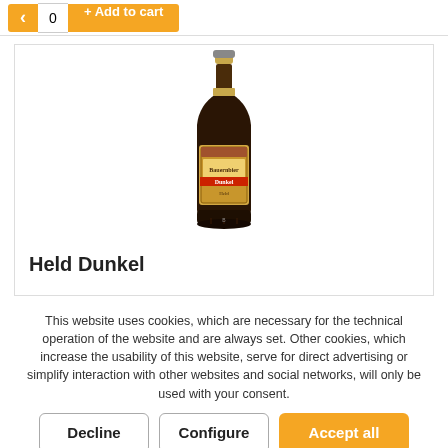[Figure (screenshot): Top bar with minus button, quantity 0, and orange Add to cart button]
[Figure (photo): Beer bottle of Held Dunkel dark beer with label showing Bauernbier Dunkel]
Held Dunkel
This website uses cookies, which are necessary for the technical operation of the website and are always set. Other cookies, which increase the usability of this website, serve for direct advertising or simplify interaction with other websites and social networks, will only be used with your consent.
Decline | Configure | Accept all